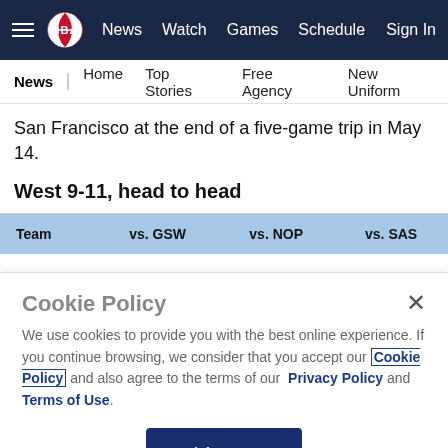NBA | News | Watch | Games | Schedule | Sign In
News | Home | Top Stories | Free Agency | New Uniform
San Francisco at the end of a five-game trip in May 14.
West 9-11, head to head
| Team | vs. GSW | vs. NOP | vs. SAS |
| --- | --- | --- | --- |
Cookie Policy
We use cookies to provide you with the best online experience. If you continue browsing, we consider that you accept our Cookie Policy and also agree to the terms of our Privacy Policy and Terms of Use.
I Accept